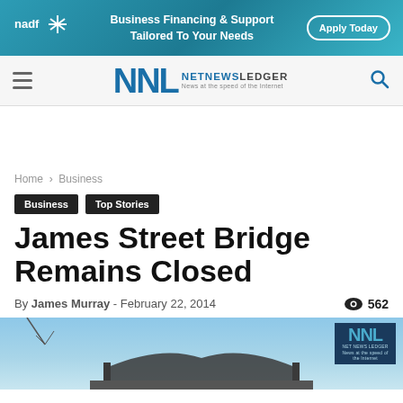[Figure (other): NADF advertisement banner: Business Financing & Support Tailored To Your Needs, Apply Today button]
NNL NETNEWSLEDGER News at the speed of the Internet
Home › Business
Business
Top Stories
James Street Bridge Remains Closed
By James Murray - February 22, 2014  562
[Figure (photo): Photo of James Street Bridge under blue sky with NNL watermark logo in top right corner]